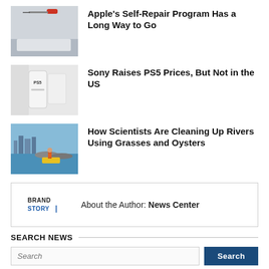[Figure (photo): Photo thumbnail of a red screwdriver on a device]
Apple’s Self-Repair Program Has a Long Way to Go
[Figure (photo): Photo thumbnail of PS5 gaming console]
Sony Raises PS5 Prices, But Not in the US
[Figure (photo): Photo thumbnail of a scientist on a boat near river]
How Scientists Are Cleaning Up Rivers Using Grasses and Oysters
About the Author: News Center
[Figure (logo): Brand Story logo]
SEARCH NEWS
Search